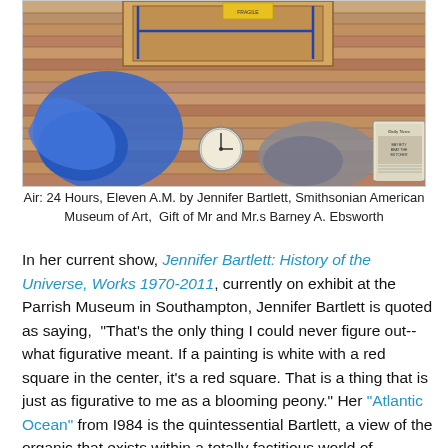[Figure (illustration): Painting showing a wooden floor scene with a blue tarp, a clock, a newspaper, and what appears to be objects on a hardwood floor — Air: 24 Hours, Eleven A.M. by Jennifer Bartlett]
Air: 24 Hours, Eleven A.M. by Jennifer Bartlett, Smithsonian American Museum of Art,  Gift of Mr and Mr.s Barney A. Ebsworth
In her current show, Jennifer Bartlett: History of the Universe, Works 1970-2011, currently on exhibit at the Parrish Museum in Southampton, Jennifer Bartlett is quoted as saying,  "That's the only thing I could never figure out--what figurative meant. If a painting is white with a red square in the center, it's a red square. That is a thing that is just as figurative to me as a blooming peony." Her "Atlantic Ocean" from I984 is the quintessential Bartlett, a view of the organic that exists within a totally factitious world of abstraction. It's a grid of enamel covered metallic tiles that are themselves painted over a grid. Cross-hatching accompanies the immersion in water. She's also quoted in the show as saying,